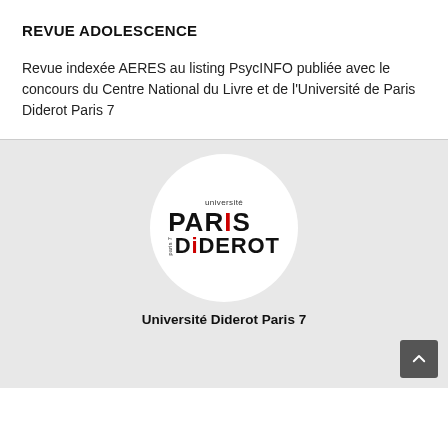REVUE ADOLESCENCE
Revue indexée AERES au listing PsycINFO publiée avec le concours du Centre National du Livre et de l'Université de Paris Diderot Paris 7
[Figure (logo): Université Paris Diderot Paris 7 logo — circular white background with 'université' in small text above 'PARIS' (with red S) and 'DIDEROT' (with red i) in bold black, 'paris 7' vertically on the left side]
Université Diderot Paris 7